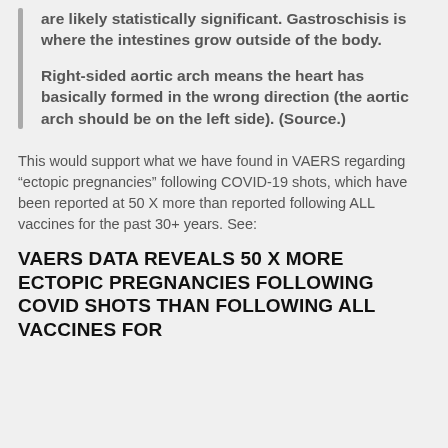are likely statistically significant. Gastroschisis is where the intestines grow outside of the body.
Right-sided aortic arch means the heart has basically formed in the wrong direction (the aortic arch should be on the left side). (Source.)
This would support what we have found in VAERS regarding “ectopic pregnancies” following COVID-19 shots, which have been reported at 50 X more than reported following ALL vaccines for the past 30+ years. See:
VAERS DATA REVEALS 50 X MORE ECTOPIC PREGNANCIES FOLLOWING COVID SHOTS THAN FOLLOWING ALL VACCINES FOR